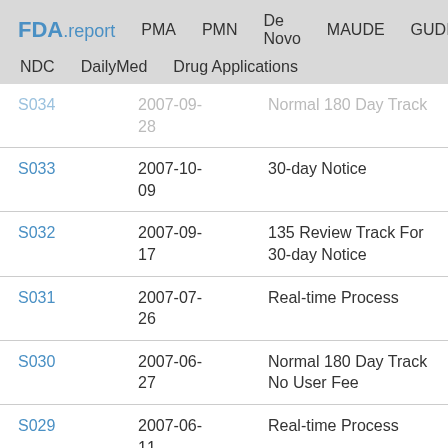FDA.report  PMA  PMN  De Novo  MAUDE  GUDID  NDC  DailyMed  Drug Applications
| ID | Date | Track Type |
| --- | --- | --- |
| S034 | 2007-09-28 | Normal 180 Day Track |
| S033 | 2007-10-09 | 30-day Notice |
| S032 | 2007-09-17 | 135 Review Track For 30-day Notice |
| S031 | 2007-07-26 | Real-time Process |
| S030 | 2007-06-27 | Normal 180 Day Track No User Fee |
| S029 | 2007-06-11 | Real-time Process |